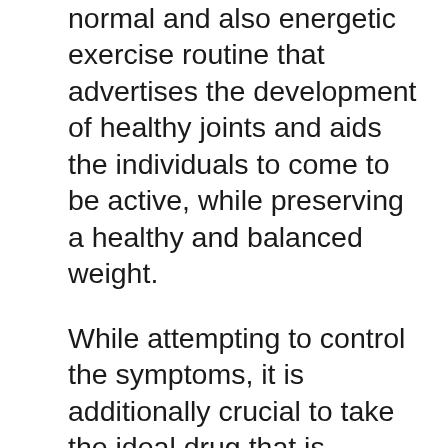normal and also energetic exercise routine that advertises the development of healthy joints and aids the individuals to come to be active, while preserving a healthy and balanced weight.
While attempting to control the symptoms, it is additionally crucial to take the ideal drug that is particularly made for the treatment of gout pain. The use of NSAIDS or nonsteroidal anti-inflammatory drugs such as pain killers, advil, naproxen, etc., is encouraged in order to control the inflammation in the joint. One more option is to take the prescription ointment or the oral tablet computer of the recommended dose of the drug. While embarking on these self-management strategies it is important to keep in mind that